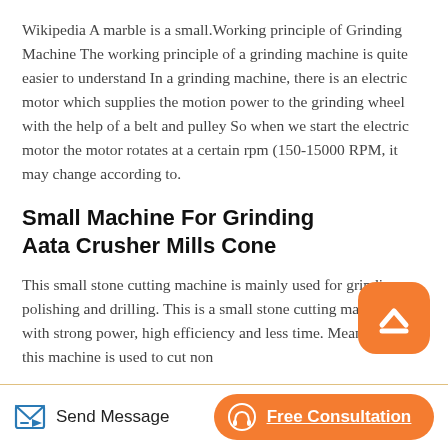Wikipedia A marble is a small.Working principle of Grinding Machine The working principle of a grinding machine is quite easier to understand In a grinding machine, there is an electric motor which supplies the motion power to the grinding wheel with the help of a belt and pulley So when we start the electric motor the motor rotates at a certain rpm (150-15000 RPM, it may change according to.
Small Machine For Grinding Aata Crusher Mills Cone
This small stone cutting machine is mainly used for grinding, polishing and drilling. This is a small stone cutting machine, with strong power, high efficiency and less time. Meanwhile, this machine is used to cut non
[Figure (other): Orange rounded square button with white upward chevron/arrow icon, used as scroll-to-top button]
[Figure (other): Bottom navigation bar with Send Message button (teal edit icon) on left and orange Free Consultation pill button with headset icon on right]